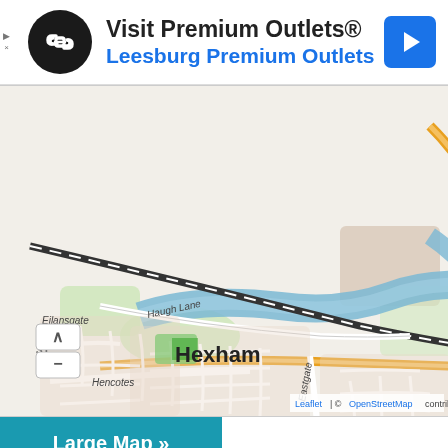[Figure (logo): Black circular logo with white chain/link icon]
Visit Premium Outlets®
Leesburg Premium Outlets
[Figure (map): OpenStreetMap leaflet map showing Hexham area with blue location pin marker. Shows roads including A6079, A695, Haugh Lane, Hencotes, Eastgate, Eilansgate. Labels include French Garden Industrial Estate, Egger, Dene Park, Hexham. Blue river runs through the map. Attribution: Leaflet | © OpenStreetMap contributors]
Large Map »